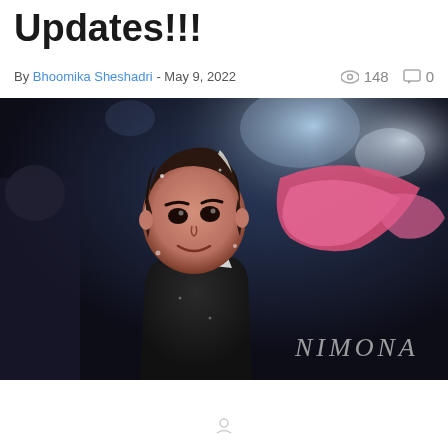Updates!!!
By Bhoomika Sheshadri - May 9, 2022   148  0
[Figure (illustration): Animated character from Nimona — a girl with short dark hair and a pink cape/wing shape, wearing a dark armored outfit with white collar details, smiling. Background shows dark atmospheric stage/arena lighting with blue/white spotlights. The word NIMONA appears in the lower right corner in a stylized light font.]